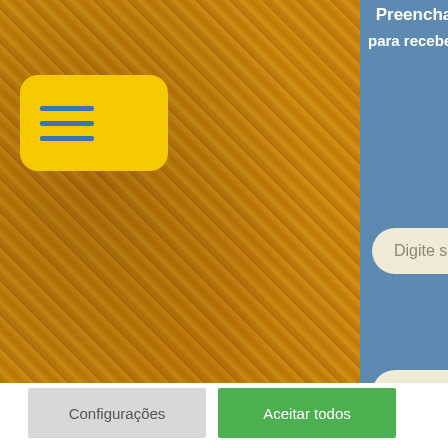[Figure (screenshot): Website screenshot showing a golden textured background on the left with a yellow rounded rectangle menu button containing three horizontal blue lines (hamburger icon), and a blue panel on the right with white header text partially visible ('Preencha o formulário a... para receber um orçamento sem...') and two rounded input fields: 'Digite seu nome' and 'Digite seu e-mail']
Usamos cookies em nosso site para fornecer uma experiência mais relevante. Ao clicar em “Aceitar todos”, você concorda com o uso de TODOS os cookies. No entanto, você pode clicar em "Configurações" para fornecer um consentimento controlado.
Configurações
Aceitar todos